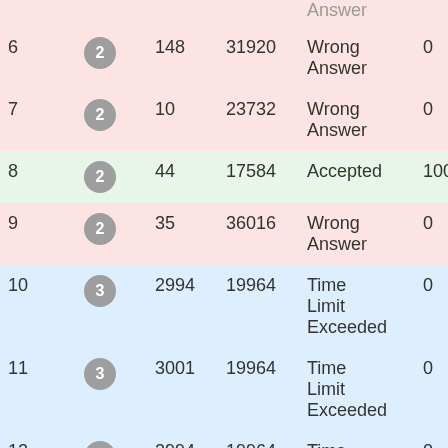| # | Level | Time | Memory | Result | Score |
| --- | --- | --- | --- | --- | --- |
| 6 | 2 | 148 | 31920 | Wrong Answer | 0 |
| 7 | 2 | 10 | 23732 | Wrong Answer | 0 |
| 8 | 2 | 44 | 17584 | Accepted | 100 |
| 9 | 2 | 35 | 36016 | Wrong Answer | 0 |
| 10 | 3 | 2994 | 19964 | Time Limit Exceeded | 0 |
| 11 | 3 | 3001 | 19964 | Time Limit Exceeded | 0 |
| 12 | 3 | 2994 | 19964 | Time | 0 |